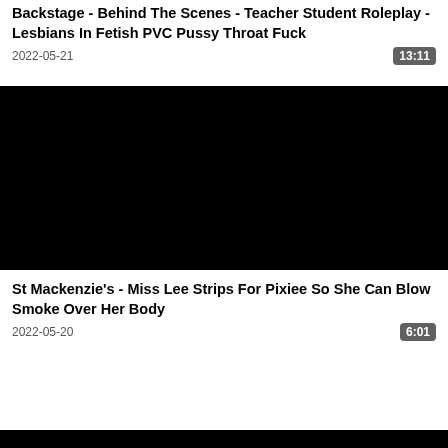Backstage - Behind The Scenes - Teacher Student Roleplay - Lesbians In Fetish PVC Pussy Throat Fuck
2022-05-21
13:11
[Figure (photo): Black video thumbnail placeholder]
St Mackenzie's - Miss Lee Strips For Pixiee So She Can Blow Smoke Over Her Body
2022-05-20
6:01
[Figure (photo): Black video thumbnail placeholder (partial)]